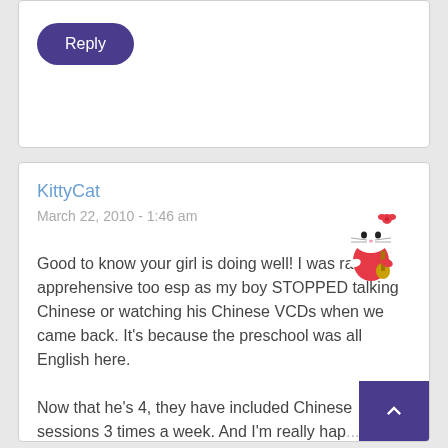Reply
KittyCat
March 22, 2010 - 1:46 am
[Figure (illustration): Hello Kitty character illustration with red bow, holding a guitar, colorful outfit]
Good to know your girl is doing well! I was rather apprehensive too esp as my boy STOPPED talking Chinese or watching his Chinese VCDs when we came back. It's because the preschool was all English here.

Now that he's 4, they have included Chinese sessions 3 times a week. And I'm really hap... because he can recognize the Chinese